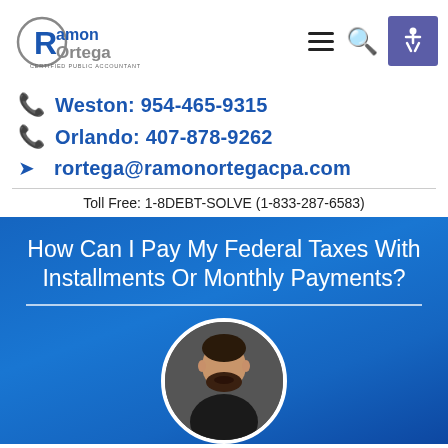[Figure (logo): Ramon Ortega Certified Public Accountant logo with circular R and blue text]
Weston: 954-465-9315
Orlando: 407-878-9262
rortega@ramonortegacpa.com
Toll Free: 1-8DEBT-SOLVE (1-833-287-6583)
How Can I Pay My Federal Taxes With Installments Or Monthly Payments?
[Figure (photo): Circular portrait photo of a man with dark hair and beard wearing dark clothing]